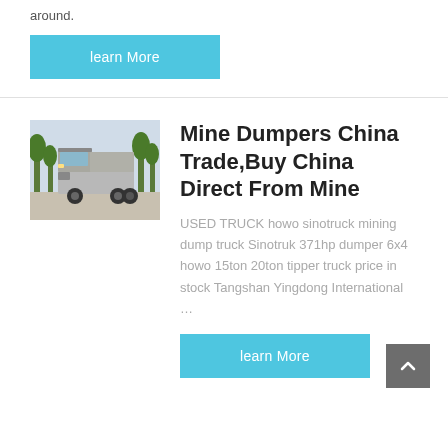around.
learn More
[Figure (photo): Silver HOWO mining dump truck parked outdoors with trees in background]
Mine Dumpers China Trade,Buy China Direct From Mine
USED TRUCK howo sinotruck mining dump truck Sinotruk 371hp dumper 6x4 howo 15ton 20ton tipper truck price in stock Tangshan Yingdong International …
learn More